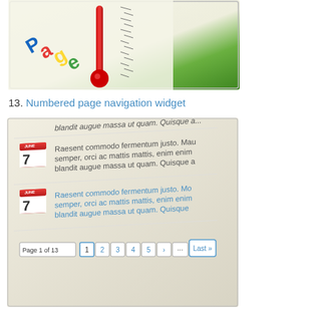[Figure (screenshot): Screenshot of a PageSpeed or thermometer gauge widget showing a thermometer graphic with 'Page' text in colorful letters on a cream/white background with green accents.]
13. Numbered page navigation widget
[Figure (screenshot): Screenshot of a numbered page navigation widget showing blog-style entries with calendar icons showing '7', lorem ipsum text ('Raesent commodo fermentum justo. Mau semper, orci ac mattis mattis, enim enim blandit augue massa ut quam. Quisque'), and a pagination bar at bottom reading: Page 1 of 13, with buttons 1 2 3 4 5 ... Last »]